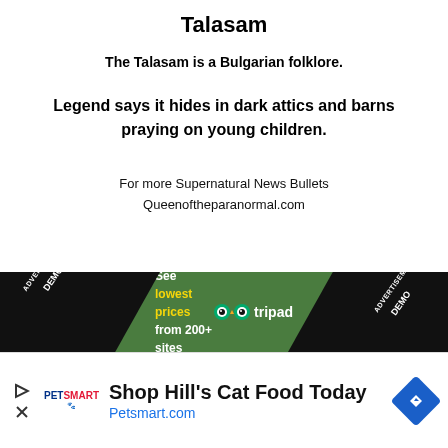Talasam
The Talasam is a Bulgarian folklore.
Legend says it hides in dark attics and barns praying on young children.
For more Supernatural News Bullets Queenoftheparanormal.com
[Figure (screenshot): Advertisement banner: TripAdvisor 'See lowest prices from 200+ sites' green banner with ADVERTISEMENT DEMO triangles on both sides, followed by a PetSmart ad 'Shop Hill's Cat Food Today' with Petsmart.com URL, and partial sidebar content.]